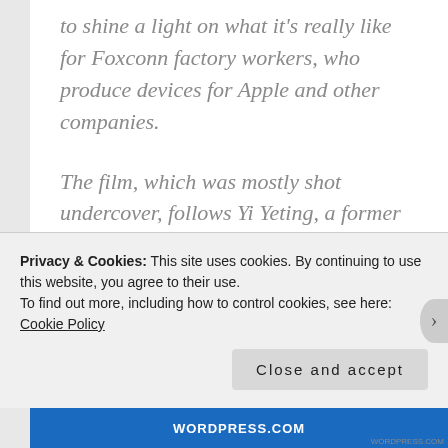to shine a light on what it's really like for Foxconn factory workers, who produce devices for Apple and other companies.
The film, which was mostly shot undercover, follows Yi Yeting, a former Foxconn employee who was diagnosed with leukemia at the young age of 24. The cause?
Privacy & Cookies: This site uses cookies. By continuing to use this website, you agree to their use.
To find out more, including how to control cookies, see here: Cookie Policy
Close and accept
WORDPRESS.COM